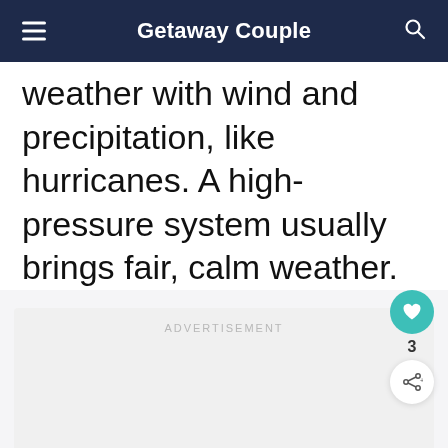Getaway Couple
weather with wind and precipitation, like hurricanes. A high-pressure system usually brings fair, calm weather.
ADVERTISEMENT